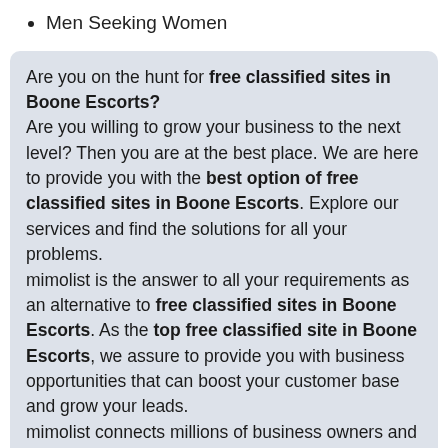Men Seeking Women
Are you on the hunt for free classified sites in Boone Escorts?
Are you willing to grow your business to the next level? Then you are at the best place. We are here to provide you with the best option of free classified sites in Boone Escorts. Explore our services and find the solutions for all your problems.
mimolist is the answer to all your requirements as an alternative to free classified sites in Boone Escorts. As the top free classified site in Boone Escorts, we assure to provide you with business opportunities that can boost your customer base and grow your leads.
mimolist connects millions of business owners and service partners, making use of intelligent technology and expert knowledge. Showcase your work by offering insights into values. Enrich your profile with the reviews of clients and build